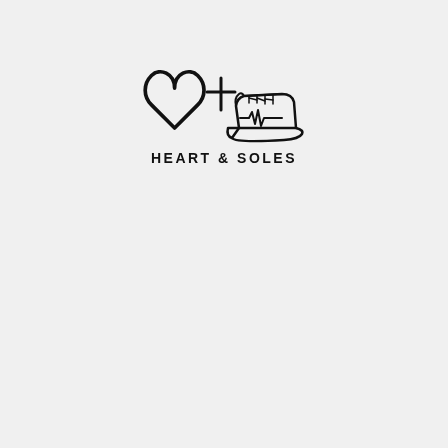[Figure (logo): Heart & Soles logo: a hand-drawn heart outline on the left, a cross symbol in the center, and a high-top sneaker with a heartbeat/EKG line on the side on the right. Below the graphic is the text 'HEART & SOLES' in bold spaced lettering.]